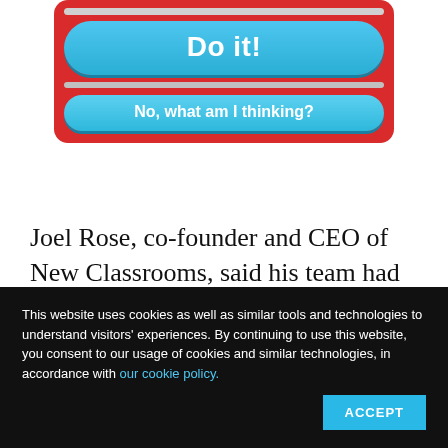[Figure (screenshot): Mobile app screenshot showing two buttons on a red background: 'Do it!' (large blue pill button) and 'No, what am I thinking?' (smaller blue pill button), with a gray divider bar between them.]
Joel Rose, co-founder and CEO of New Classrooms, said his team had searched for 9,000 individual math lessons to build its program. They looked at 80,000 lessons during this search, he said, selecting 7,000 they decided
This website uses cookies as well as similar tools and technologies to understand visitors' experiences. By continuing to use this website, you consent to our usage of cookies and similar technologies, in accordance with our cookie policy.